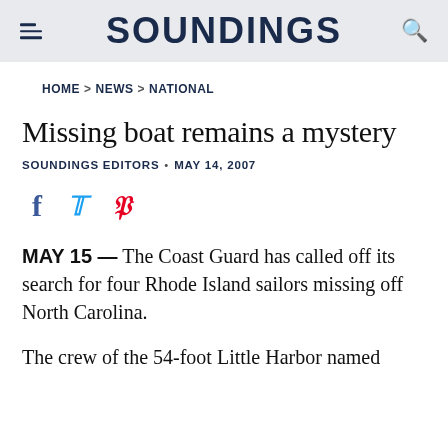SOUNDINGS
HOME > NEWS > NATIONAL
Missing boat remains a mystery
SOUNDINGS EDITORS • MAY 14, 2007
MAY 15 — The Coast Guard has called off its search for four Rhode Island sailors missing off North Carolina.
The crew of the 54-foot Little Harbor named